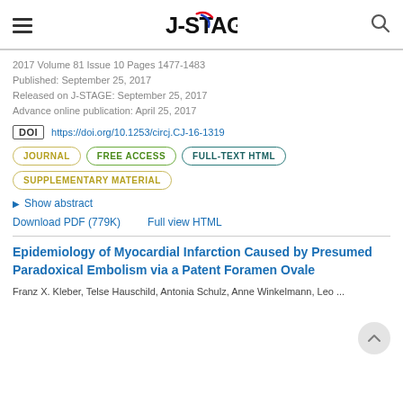J-STAGE
2017 Volume 81 Issue 10 Pages 1477-1483
Published: September 25, 2017
Released on J-STAGE: September 25, 2017
Advance online publication: April 25, 2017
DOI https://doi.org/10.1253/circj.CJ-16-1319
JOURNAL  FREE ACCESS  FULL-TEXT HTML  SUPPLEMENTARY MATERIAL
Show abstract
Download PDF (779K)   Full view HTML
Epidemiology of Myocardial Infarction Caused by Presumed Paradoxical Embolism via a Patent Foramen Ovale
Franz X. Kleber, Telse Hauschild, Antonia Schulz, Anne Winkelmann, Leo ...